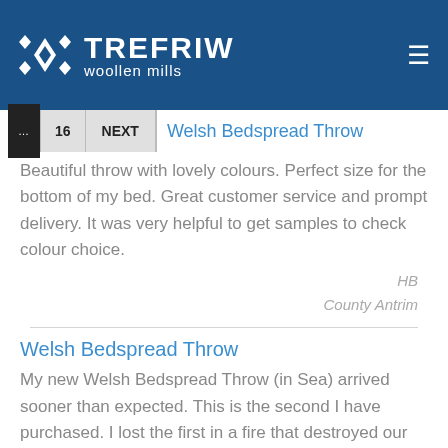[Figure (logo): Trefriw Woollen Mills logo with diamond pattern icon, white text on dark blue background, and hamburger menu icon.]
... 16 NEXT Welsh Bedspread Throw
Beautiful throw with lovely colours. Perfect size for the bottom of my bed. Great customer service and prompt delivery. It was very helpful to get samples to check colour choice.
HB
County Antrim
Welsh Bedspread Throw
My new Welsh Bedspread Throw (in Sea) arrived sooner than expected. This is the second I have purchased. I lost the first in a fire that destroyed our